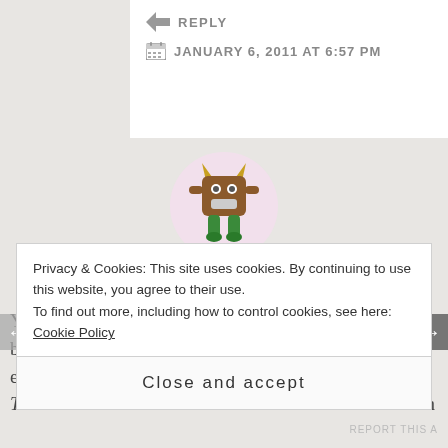REPLY
JANUARY 6, 2011 AT 6:57 PM
[Figure (illustration): Cartoon monster avatar with horns, brown body, green feet, inside a pink circle]
moons_storm
You know my general thoughts on reviewers. 🙂 I've been given negative reviews and glowing reviews and everything in between. I learned the moment I put out The Keeper that a review was merely a person's opinion
Privacy & Cookies: This site uses cookies. By continuing to use this website, you agree to their use.
To find out more, including how to control cookies, see here: Cookie Policy
Close and accept